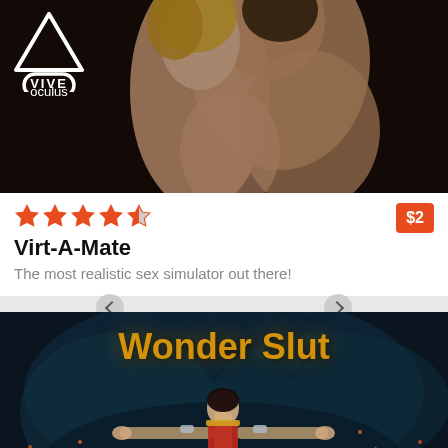[Figure (photo): Product listing image for Virt-A-Mate VR game showing two female figures on dark background with VIVE and Oculus logos in top left corner]
Virt-A-Mate
The most realistic sex simulator out there!
[Figure (photo): Product listing image for Wonder Slut game showing a female superhero character in costume with arms outstretched against a dark smoky background with the title 'Wonder Slut' in gold text at top]